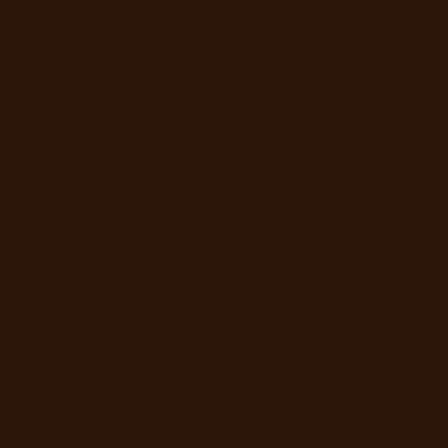ravens jerseys
louis vuitton ou
true religion ou
fitflops sale cle
adidas outlet st